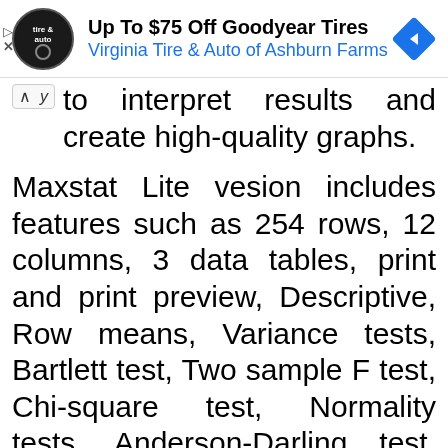[Figure (other): Advertisement banner for Virginia Tire & Auto of Ashburn Farms with logo and arrow icon, promoting Up To $75 Off Goodyear Tires]
to interpret results and create high-quality graphs.
Maxstat Lite vesion includes features such as 254 rows, 12 columns, 3 data tables, print and print preview, Descriptive, Row means, Variance tests, Bartlett test, Two sample F test, Chi-square test, Normality tests, Anderson-Darling test, Shapiro-Wilk test, Lilliefors test, Bera-Jeraque test,